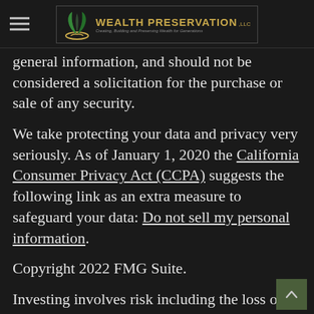Wealth Preservation, LLC
general information, and should not be considered a solicitation for the purchase or sale of any security.
We take protecting your data and privacy very seriously. As of January 1, 2020 the California Consumer Privacy Act (CCPA) suggests the following link as an extra measure to safeguard your data: Do not sell my personal information.
Copyright 2022 FMG Suite.
Investing involves risk including the loss of principal
Investment Advisory services offered through Laurel Wealth Advisors, Inc., a Registered